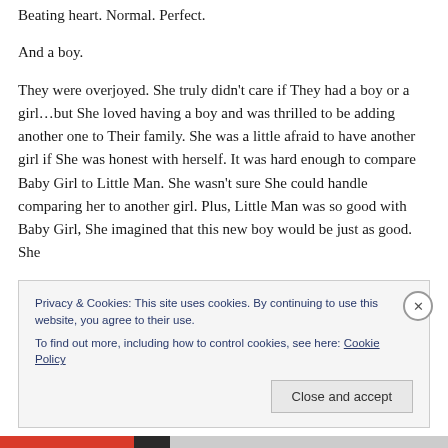Beating heart. Normal. Perfect.
And a boy.
They were overjoyed. She truly didn’t care if They had a boy or a girl…but She loved having a boy and was thrilled to be adding another one to Their family. She was a little afraid to have another girl if She was honest with herself. It was hard enough to compare Baby Girl to Little Man. She wasn’t sure She could handle comparing her to another girl. Plus, Little Man was so good with Baby Girl, She imagined that this new boy would be just as good. She
Privacy & Cookies: This site uses cookies. By continuing to use this website, you agree to their use.
To find out more, including how to control cookies, see here: Cookie Policy